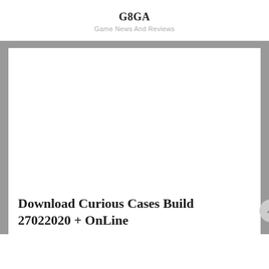G8GA
Game News And Reviews
Download Curious Cases Build 27022020 + OnLine